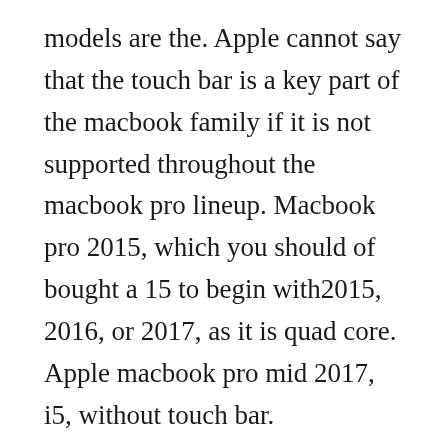models are the. Apple cannot say that the touch bar is a key part of the macbook family if it is not supported throughout the macbook pro lineup. Macbook pro 2015, which you should of bought a 15 to begin with2015, 2016, or 2017, as it is quad core. Apple macbook pro mid 2017, i5, without touch bar.
New macbook pro 2017 could debut gold color, use an ipad pro. Find apple macbook pro with touch bar inch, 2017 prices and learn where to buy. Apple now selling refurbished inch macbook pro with. Disappointing